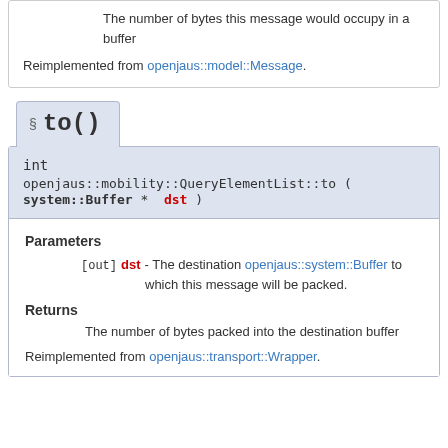The number of bytes this message would occupy in a buffer
Reimplemented from openjaus::model::Message.
§ to()
int openjaus::mobility::QueryElementList::to ( system::Buffer * dst )
Parameters
[out] dst - The destination openjaus::system::Buffer to which this message will be packed.
Returns
The number of bytes packed into the destination buffer
Reimplemented from openjaus::transport::Wrapper.